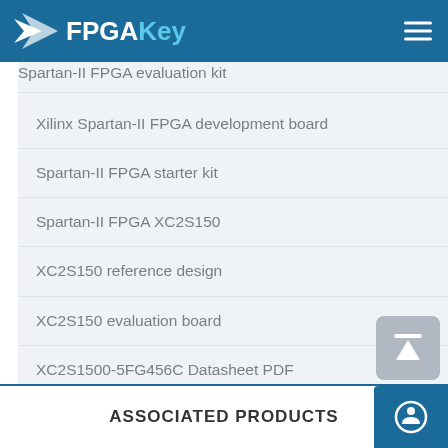FPGAKey
Spartan-II FPGA evaluation kit
Xilinx Spartan-II FPGA development board
Spartan-II FPGA starter kit
Spartan-II FPGA XC2S150
XC2S150 reference design
XC2S150 evaluation board
XC2S1500-5FG456C Datasheet PDF
ASSOCIATED PRODUCTS